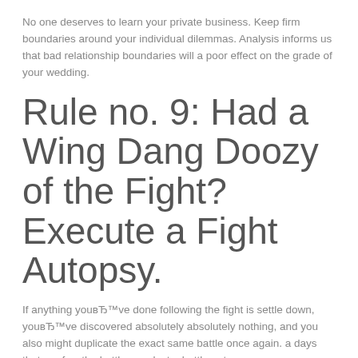No one deserves to learn your private business. Keep firm boundaries around your individual dilemmas. Analysis informs us that bad relationship boundaries will a poor effect on the grade of your wedding.
Rule no. 9: Had a Wing Dang Doozy of the Fight? Execute a Fight Autopsy.
If anything youвЂ™ve done following the fight is settle down, youвЂ™ve discovered absolutely absolutely nothing, and you also might duplicate the exact same battle once again. a days that are few the battle, conduct a battle autopsy.